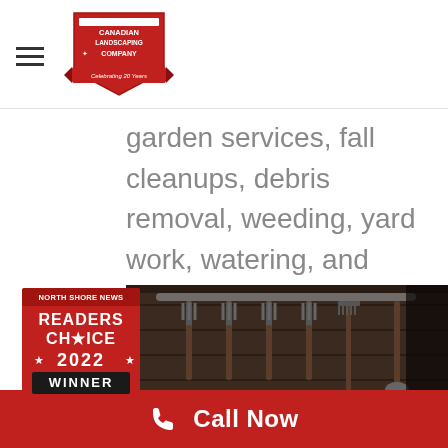Great Canadian Landscaping Company
garden services, fall cleanups, debris removal, weeding, yard work, watering, and more!
[Figure (photo): Photo of metal garden tools (forks, rakes) hanging on a dark wooden rack in a shed, with a 'North Shore News Readers Choice 2022 Winner' badge overlaid on the bottom left]
Call Now